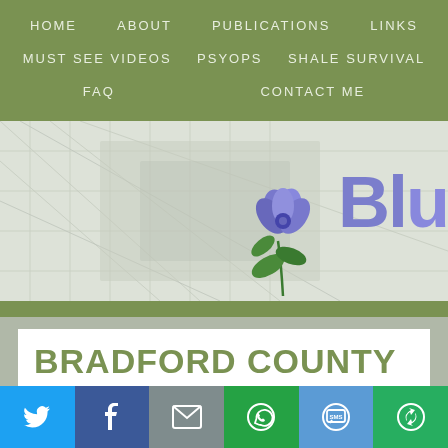HOME   ABOUT   PUBLICATIONS   LINKS   MUST SEE VIDEOS   PSYOPS   SHALE SURVIVAL   FAQ   CONTACT ME
[Figure (illustration): Website banner with faded map background, blue flower illustration, and partial text 'Blu' in purple/blue large font]
BRADFORD COUNTY
[Figure (infographic): Social sharing bar with icons: Twitter (blue), Facebook (dark blue), Email (gray), WhatsApp (green), SMS (blue), Share (green)]